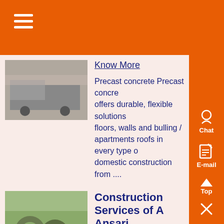[Figure (screenshot): Orange header navigation bar with hamburger menu icon]
[Figure (photo): Photo of a precast concrete truck/machinery on a factory floor]
Know More
Precast concrete Precast concrete offers durable, flexible solutions floors, walls and bulling / apartments roofs in every type of domestic construction from ....
[Figure (photo): Photo of large rolls of wire/material stacked outdoors]
Construction Services of A Ansari
Know More
Construction QDC; QRM; QST; Q Trading , Qanbar Dywidag Precast Concrete , Kingdom of Saudi Arabia Tel: 013- 809 9388 Fax: 013- 809 9383